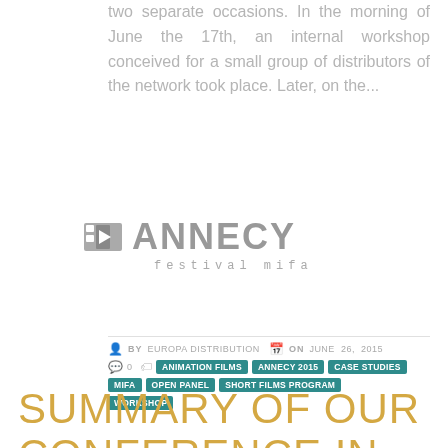two separate occasions. In the morning of June the 17th, an internal workshop conceived for a small group of distributors of the network took place. Later, on the...
[Figure (logo): Annecy Festival MIFA logo - grey stylized film strip icon beside bold grey text 'ANNECY' with 'festival mifa' in smaller spaced text below]
BY EUROPA DISTRIBUTION  ON JUNE 26, 2015  0  ANIMATION FILMS  ANNECY 2015  CASE STUDIES  MIFA  OPEN PANEL  SHORT FILMS PROGRAM  WORKSHOP
SUMMARY OF OUR CONFERENCE IN